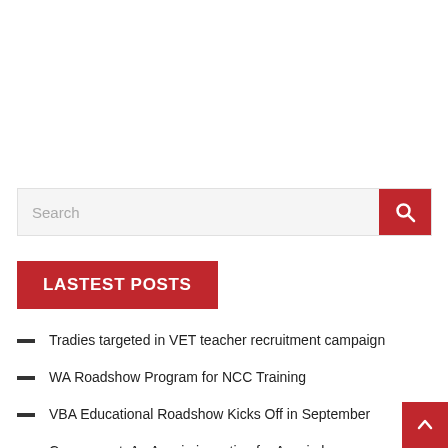[Figure (screenshot): Search bar with red search button containing a magnifying glass icon]
LASTEST POSTS
Tradies targeted in VET teacher recruitment campaign
WA Roadshow Program for NCC Training
VBA Educational Roadshow Kicks Off in September
Corromount: An Aussie invention for Aussie homes
Startup ‘Superyard’ Aims to Share Construction Materials